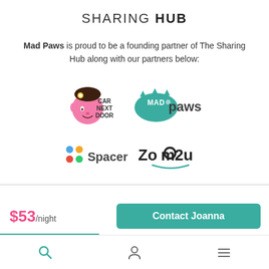SHARING HUB
Mad Paws is proud to be a founding partner of The Sharing Hub along with our partners below:
[Figure (logo): Car Next Door logo — pink cartoon face with flower, text CAR NEXT DOOR]
[Figure (logo): Mad Paws logo — teal splash shape with MAD PAWS text]
[Figure (logo): Spacer logo — colored dot grid with Spacer text]
[Figure (logo): Zoom2u logo — dark text with teal underline smile accent]
$53/night
Contact Joanna
Search | User | Menu navigation bar